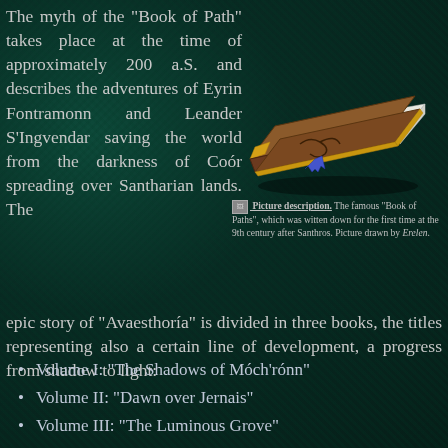The myth of the "Book of Path" takes place at the time of approximately 200 a.S. and describes the adventures of Eyrin Fontramonn and Leander S'Ingvendar saving the world from the darkness of Coór spreading over Santharian lands. The epic story of "Avaesthoría" is divided in three books, the titles representing also a certain line of development, a progress from shadow to light:
[Figure (illustration): Illustration of the famous 'Book of Paths', a brown leather-bound book with gold corners and a blue bookmark ribbon. Picture drawn by Erelen.]
Picture description. The famous "Book of Paths", which was witten down for the first time at the 9th century after Santhros. Picture drawn by Erelen.
Volume I: "The Shadows of Móch'rónn"
Volume II: "Dawn over Jernais"
Volume III: "The Luminous Grove"